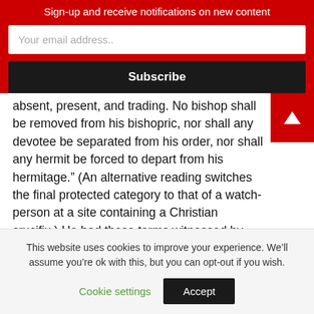Sign-up and receive notifications on new content
Your email address..
Subscribe
absent, present, and trading. No bishop shall be removed from his bishopric, nor shall any devotee be separated from his order, nor shall any hermit be forced to depart from his hermitage.” (An alternative reading switches the final protected category to that of a watch-person at a site containing a Christian crucifix.) He had these terms witnessed by Abu Sufyan ibn Harb, Al-Aqra’ ibn Habis, and Al-Mughirra ibn Shu’aba, among others.
• Similarly, he recorded in his treaty with them that they
This website uses cookies to improve your experience. We’ll assume you’re ok with this, but you can opt-out if you wish.
Cookie settings
Accept